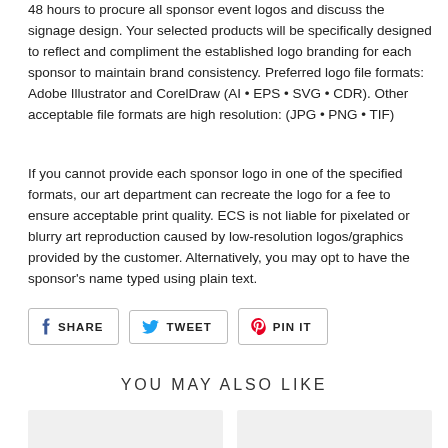48 hours to procure all sponsor event logos and discuss the signage design. Your selected products will be specifically designed to reflect and compliment the established logo branding for each sponsor to maintain brand consistency. Preferred logo file formats: Adobe Illustrator and CorelDraw (AI • EPS • SVG • CDR). Other acceptable file formats are high resolution: (JPG • PNG • TIF)
If you cannot provide each sponsor logo in one of the specified formats, our art department can recreate the logo for a fee to ensure acceptable print quality. ECS is not liable for pixelated or blurry art reproduction caused by low-resolution logos/graphics provided by the customer. Alternatively, you may opt to have the sponsor's name typed using plain text.
[Figure (infographic): Social sharing buttons: SHARE (Facebook), TWEET (Twitter), PIN IT (Pinterest)]
YOU MAY ALSO LIKE
[Figure (photo): Two product thumbnail images side by side (partially visible at bottom)]